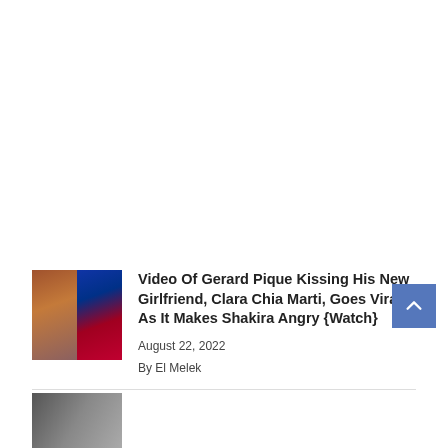[Figure (photo): Article thumbnail: split image showing a woman on the left and a man in FC Barcelona jersey on the right]
Video Of Gerard Pique Kissing His New Girlfriend, Clara Chia Marti, Goes Viral As It Makes Shakira Angry {Watch}
August 22, 2022
By El Melek
[Figure (photo): Partial article thumbnail at the bottom of the page (second article preview, partially visible)]